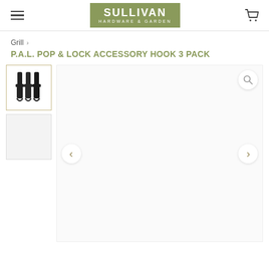Sullivan Hardware & Garden
Grill > P.A.L. POP & LOCK ACCESSORY HOOK 3 PACK
P.A.L. POP & LOCK ACCESSORY HOOK 3 PACK
[Figure (photo): Product thumbnail showing three black P.A.L. Pop & Lock accessory hooks arranged side by side, selected/active state with tan border]
[Figure (photo): Second product thumbnail placeholder, inactive state with light gray border]
[Figure (photo): Main product image area showing the P.A.L. Pop & Lock accessory hooks, with navigation arrows (left/right) and a zoom magnifier button in upper right corner]